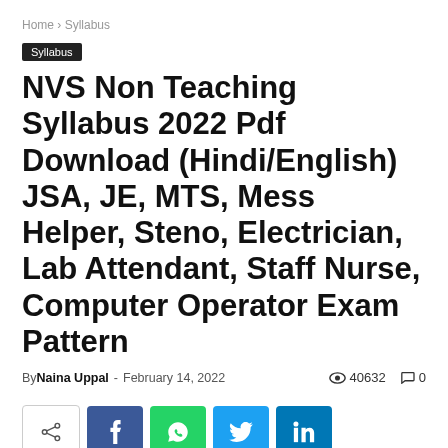Home › Syllabus
Syllabus
NVS Non Teaching Syllabus 2022 Pdf Download (Hindi/English) JSA, JE, MTS, Mess Helper, Steno, Electrician, Lab Attendant, Staff Nurse, Computer Operator Exam Pattern
By Naina Uppal - February 14, 2022  👁 40632  💬 0
[Figure (infographic): Social share bar with native share button, Facebook, WhatsApp, Twitter, and LinkedIn buttons]